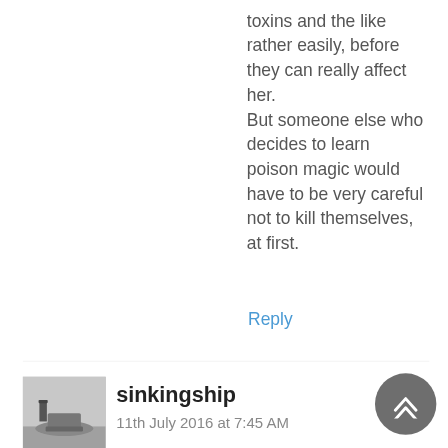toxins and the like rather easily, before they can really affect her.
But someone else who decides to learn poison magic would have to be very careful not to kill themselves, at first.
Reply
[Figure (photo): Black and white photo of a small boat on water]
sinkingship
11th July 2016 at 7:45 AM